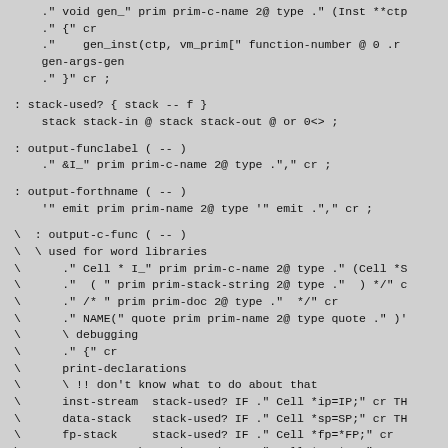." void gen_" prim prim-c-name 2@ type ." (Inst **ctp
." {" cr
."    gen_inst(ctp, vm_prim[" function-number @ 0 .r
gen-args-gen
." }" cr ;
: stack-used? { stack -- f }
    stack stack-in @ stack stack-out @ or 0<> ;
: output-funclabel ( -- )
    ." &I_" prim prim-c-name 2@ type ."," cr ;
: output-forthname ( -- )
    '" emit prim prim-name 2@ type '" emit ."," cr ;
\  : output-c-func ( -- )
\  \ used for word libraries
\      ." Cell * I_" prim prim-c-name 2@ type ." (Cell *S
\      ."  ( " prim prim-stack-string 2@ type ."  ) */" c
\      ." /* " prim prim-doc 2@ type ."  */" cr
\      ." NAME(" quote prim prim-name 2@ type quote ." )'
\      \ debugging
\      ." {" cr
\      print-declarations
\      \ !! don't know what to do about that
\      inst-stream  stack-used? IF ." Cell *ip=IP;" cr TH
\      data-stack   stack-used? IF ." Cell *sp=SP;" cr TH
\      fp-stack     stack-used? IF ." Cell *fp=*FP;" cr
\      return-stack stack-used? IF ." Cell *rp=*RP;" cr
\      flush-tos